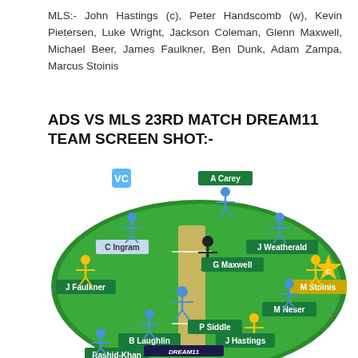MLS:- John Hastings (c), Peter Handscomb (w), Kevin Pietersen, Luke Wright, Jackson Coleman, Glenn Maxwell, Michael Beer, James Faulkner, Ben Dunk, Adam Zampa, Marcus Stoinis
ADS VS MLS 23RD MATCH DREAM11 TEAM SCREEN SHOT:-
[Figure (screenshot): Dream11 cricket team selection screen showing a green oval cricket field with player positions labeled: A Carey (wicketkeeper, top), VC badge on C Ingram (left-center), J Weatherald (right-center), G Maxwell (center), J Faulkner (left), M Stoinis with C (captain) badge (right), M Neser (right-lower), P Siddle (center-lower), B Laughlin (lower-left-center), J Hastings (lower-right-center), Rashid-Khan (bottom-left). Dream11 logo at bottom.]